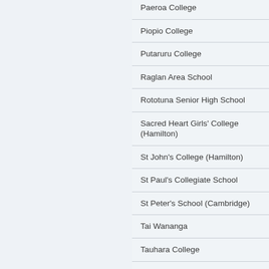Paeroa College
Piopio College
Putaruru College
Raglan Area School
Rototuna Senior High School
Sacred Heart Girls' College (Hamilton)
St John's College (Hamilton)
St Paul's Collegiate School
St Peter's School (Cambridge)
Tai Wananga
Tauhara College
Taupo-Nui-A-Tia College
Te Aroha College
Te Awamutu College
Te Kauwhata College
Te Kopuku High